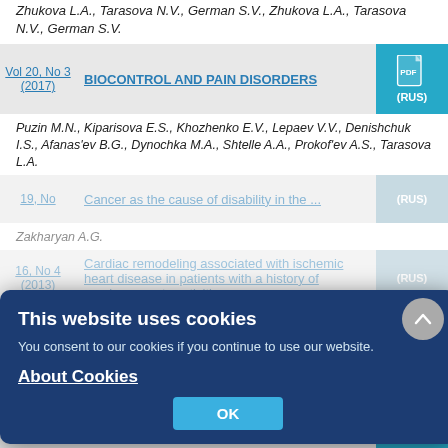Zhukova L.A., Tarasova N.V., German S.V., Zhukova L.A., Tarasova N.V., German S.V.
| Vol | Title | PDF |
| --- | --- | --- |
| Vol 20, No 3 (2017) | BIOCONTROL AND PAIN DISORDERS | PDF (RUS) |
Puzin M.N., Kiparisova E.S., Khozhenko E.V., Lepaev V.V., Denishchuk I.S., Afanas'ev B.G., Dynochka M.A., Shtelle A.A., Prokof'ev A.S., Tarasova L.A.
19, No  Cancer as the cause of disability in the ... (RUS)
Zakharyan A.G.
[Figure (other): Cookie consent overlay dialog with title 'This website uses cookies', body text 'You consent to our cookies if you continue to use our website.', 'About Cookies' link, and OK button]
Cardiac remodeling associated with ischemic heart disease in patients with a history of previous sports activities
Achkasov E.E., Mashkovskiy E.V., Bogova O.T., Puzin S.N., Sultanova O.A.
| Vol | Title | PDF |
| --- | --- | --- |
| Vol 15, No 3 | CARDIOVASCULAR SYSTEM DISEASES IN PROFESSIONAL ATHLETES | PDF |